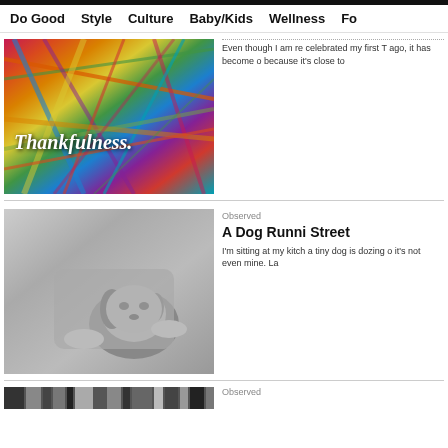Do Good   Style   Culture   Baby/Kids   Wellness   Fo
[Figure (photo): Colorful yarn/threads image with bold italic text 'Thankfulness.' overlaid]
Even though I am re celebrated my first T ago, it has become o because it's close to
[Figure (photo): Black and white photo of a woman holding a small Chihuahua dog]
Observed
A Dog Runni Street
I'm sitting at my kitch a tiny dog is dozing o it's not even mine. La
[Figure (photo): Partial colorful image at the bottom of the page]
Observed